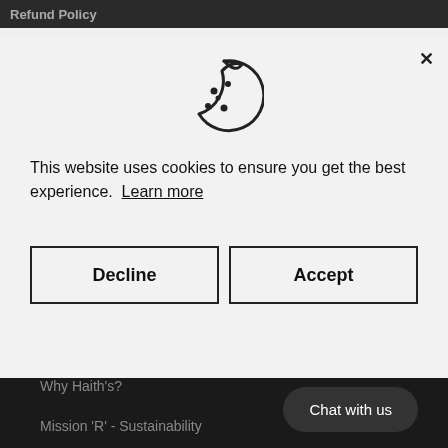Refund Policy
Privacy & Cookies
Terms of Service Conditio...
[Figure (illustration): Cookie icon - outline of a cookie with bite taken out and dots representing chocolate chips]
This website uses cookies to ensure you get the best experience.  Learn more
Decline
Accept
About Haith's
About Us
Why Haith's?
Mission 'R' - Sustainability
Chat with us